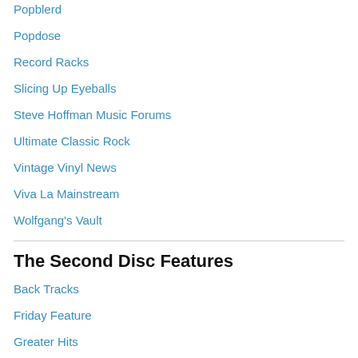Popblerd
Popdose
Record Racks
Slicing Up Eyeballs
Steve Hoffman Music Forums
Ultimate Classic Rock
Vintage Vinyl News
Viva La Mainstream
Wolfgang's Vault
The Second Disc Features
Back Tracks
Friday Feature
Greater Hits
Reissue Theory
Email Subscription